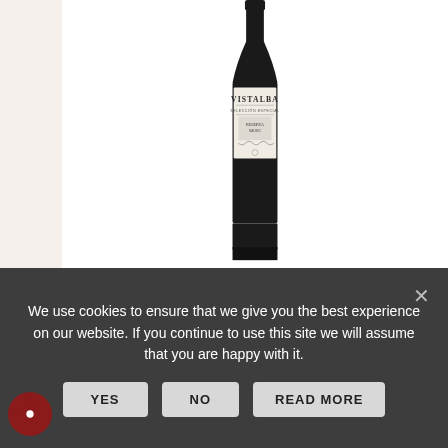[Figure (photo): Wine bottle - Vistalba Malbec Corte A 2017, dark bottle with white label]
Share This Items :
[Figure (illustration): Social media icons: Facebook, Twitter, Instagram]
VISTALBA MALBEC CORTE A 2017
We use cookies to ensure that we give you the best experience on our website. If you continue to use this site we will assume that you are happy with it.
YES   NO   READ MORE